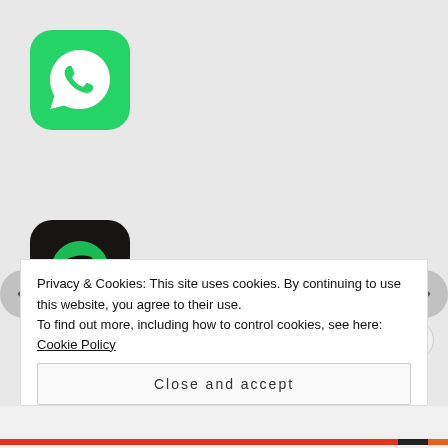[Figure (logo): WhatsApp app icon — green rounded square with white speech bubble phone icon]
[Figure (logo): Spotify app icon — black rounded square with green Spotify logo]
[Figure (logo): Apple Podcasts app icon — purple gradient rounded square with microphone/waves icon]
[Figure (logo): Haaretz app icon — blue rounded square with H logo and Hebrew text]
Privacy & Cookies: This site uses cookies. By continuing to use this website, you agree to their use.
To find out more, including how to control cookies, see here: Cookie Policy
Close and accept